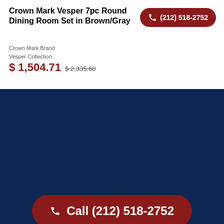Crown Mark Vesper 7pc Round Dining Room Set in Brown/Gray
(212) 518-2752
Crown Mark Brand
Vesper Collection
$ 1,504.71  $ 2,335.60
Call (212) 518-2752
We're open 24/7
We have the best service!
Shop and Save
Customer Service
About Us
Why Shop With Us?
Chat with an expert